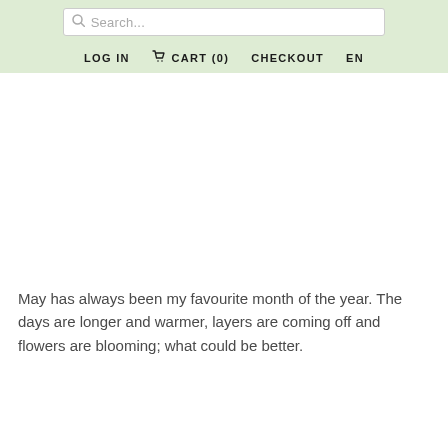Search... | LOG IN | CART (0) | CHECKOUT | EN
May has always been my favourite month of the year. The days are longer and warmer, layers are coming off and flowers are blooming; what could be better.